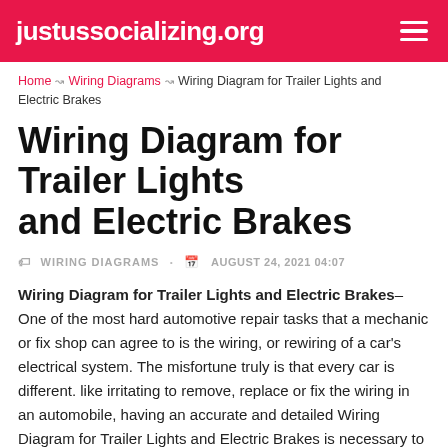justussocializing.org
Home > Wiring Diagrams > Wiring Diagram for Trailer Lights and Electric Brakes
Wiring Diagram for Trailer Lights and Electric Brakes
WIRING DIAGRAMS · AUGUST 24, 2021 04:07
Wiring Diagram for Trailer Lights and Electric Brakes– One of the most hard automotive repair tasks that a mechanic or fix shop can agree to is the wiring, or rewiring of a car's electrical system. The misfortune truly is that every car is different. like irritating to remove, replace or fix the wiring in an automobile, having an accurate and detailed Wiring Diagram for Trailer Lights and Electric Brakes is necessary to the carrying out of the repair job. Many times, a mechanic is burdened unnecessarily because of incorrect or archaic wiring schematics that are provided by improper sources.